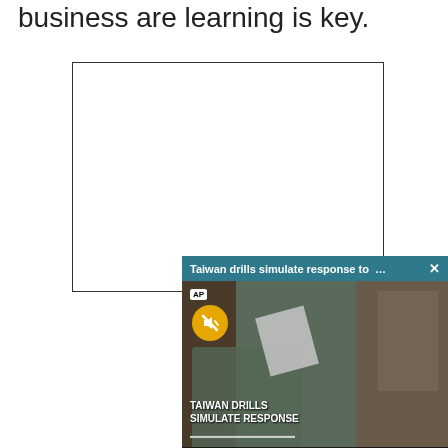business are learning is key.
[Figure (other): Empty white rectangle with thin border, likely a placeholder for an image or figure.]
[Figure (screenshot): A video overlay/popup showing 'Taiwan drills simulate response to ...' with an AP video thumbnail. The video shows military drills. Has a teal header bar with an X close button, an AP badge, a yellow mute button, and caption text 'TAIWAN DRILLS SIMULATE RESPONSE'.]